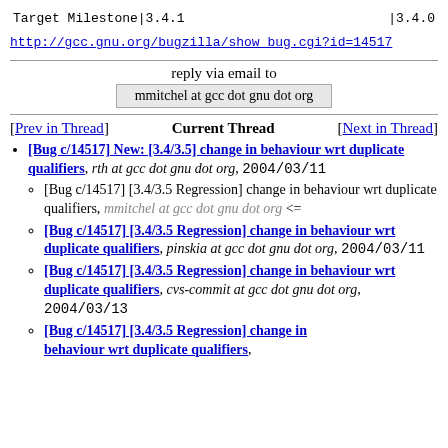| Target Milestone | 3.4.1 |  | 3.4.0 |
http://gcc.gnu.org/bugzilla/show_bug.cgi?id=14517
reply via email to
mmitchel at gcc dot gnu dot org
[Prev in Thread]  Current Thread  [Next in Thread]
[Bug c/14517] New: [3.4/3.5] change in behaviour wrt duplicate qualifiers, rth at gcc dot gnu dot org, 2004/03/11
[Bug c/14517] [3.4/3.5 Regression] change in behaviour wrt duplicate qualifiers, mmitchel at gcc dot gnu dot org <=
[Bug c/14517] [3.4/3.5 Regression] change in behaviour wrt duplicate qualifiers, pinskia at gcc dot gnu dot org, 2004/03/11
[Bug c/14517] [3.4/3.5 Regression] change in behaviour wrt duplicate qualifiers, cvs-commit at gcc dot gnu dot org, 2004/03/13
[Bug c/14517] [3.4/3.5 Regression] change in behaviour wrt duplicate qualifiers, ...